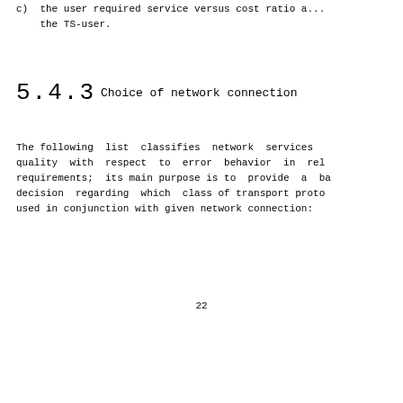c)  the user required service versus cost ratio a... the TS-user.
5.4.3  Choice of network connection
The following list classifies network services quality with respect to error behavior in rel requirements; its main purpose is to provide a ba decision regarding which class of transport proto used in conjunction with given network connection:
22